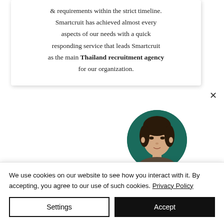& requirements within the strict timeline. Smartcruit has achieved almost every aspects of our needs with a quick responding service that leads Smartcruit as the main Thailand recruitment agency for our organization.
[Figure (photo): Circular profile photo of a woman with dark hair against a dark teal/green background]
We use cookies on our website to see how you interact with it. By accepting, you agree to our use of such cookies. Privacy Policy
Settings
Accept